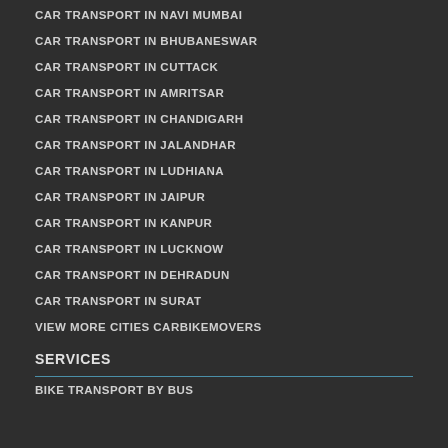CAR TRANSPORT IN NAVI MUMBAI
CAR TRANSPORT IN BHUBANESWAR
CAR TRANSPORT IN CUTTACK
CAR TRANSPORT IN AMRITSAR
CAR TRANSPORT IN CHANDIGARH
CAR TRANSPORT IN JALANDHAR
CAR TRANSPORT IN LUDHIANA
CAR TRANSPORT IN JAIPUR
CAR TRANSPORT IN KANPUR
CAR TRANSPORT IN LUCKNOW
CAR TRANSPORT IN DEHRADUN
CAR TRANSPORT IN SURAT
VIEW MORE CITIES CARBIKEMOVERS
SERVICES
BIKE TRANSPORT BY BUS